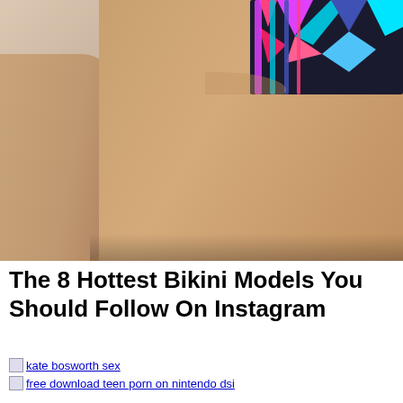[Figure (photo): Close-up photo of a person wearing a colorful patterned bikini bottom with multi-colored straps (pink, teal, purple, black geometric pattern), showing midsection and hip area against a light beach background.]
The 8 Hottest Bikini Models You Should Follow On Instagram
kate bosworth sex
free download teen porn on nintendo dsi